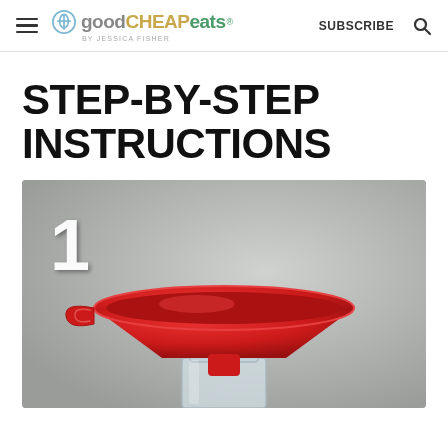good CHEAP eats by Jessica Fisher | SUBSCRIBE
STEP-BY-STEP INSTRUCTIONS
[Figure (photo): Step 1 photo showing a red plastic funnel placed on top of a glass mason jar, against a grey background. A large white number '1' is overlaid in the top left corner.]